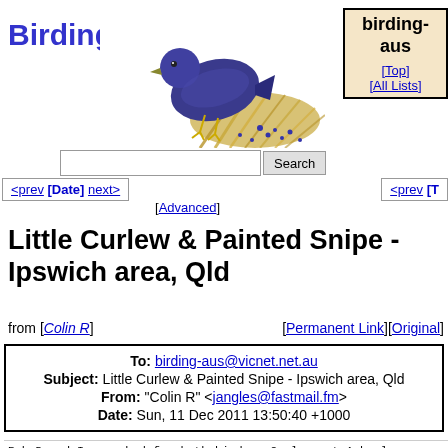Birding-Aus [birding-aus] [Top] [All Lists]
[Figure (illustration): Blue bird illustration (satin bowerbird or similar) perched among golden dry grass/straw, facing right, with dots scattered around]
<prev [Date] next>
[Advanced]
<prev [T
Little Curlew & Painted Snipe - Ipswich area, Qld
from [Colin R]   [Permanent Link][Original]
| To: | birding-aus@vicnet.net.au |
| Subject: | Little Curlew & Painted Snipe - Ipswich area, Qld |
| From: | "Colin R" <jangles@fastmail.fm> |
| Date: | Sun, 11 Dec 2011 13:50:40 +1000 |
Rob D and I searched for both birds - Curlews at Amberl
and Snipe at Rosewood - yesterday (Saturday) between 6.
No sign of either bird/birds. We scanned the airdrome f
over an hour - they coulda been there but we didn't 'sc
The same at Rosewood for the Snipe - we DID have a nice
White-winged Black Tern and several Red-kneed Dotterels
we've seen any) at Rosewood - there were only 2 Cotton